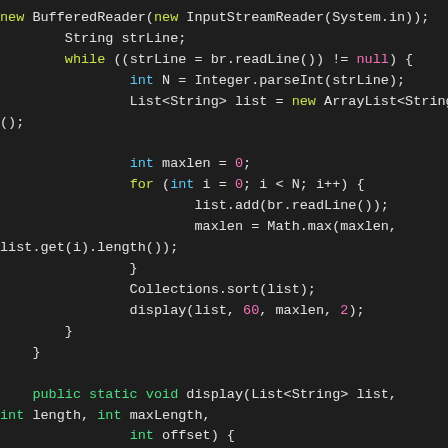new BufferedReader(new InputStreamReader(System.in));
        String strLine;
        while ((strLine = br.readLine()) != null) {
                int N = Integer.parseInt(strLine);
                List<String> list = new ArrayList<String>
();

                int maxlen = 0;
                for (int i = 0; i < N; i++) {
                        list.add(br.readLine());
                        maxlen = Math.max(maxlen,
list.get(i).length());
                }
                Collections.sort(list);
                display(list, 60, maxlen, 2);
        }
    }

    public static void display(List<String> list,
int length, int maxLength,
                int offset) {
        int cols = (length + offset) / (maxLength +
offset);